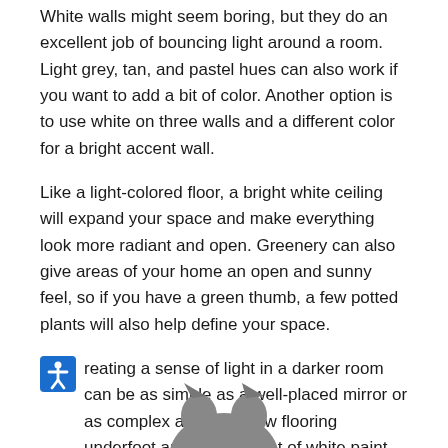White walls might seem boring, but they do an excellent job of bouncing light around a room. Light grey, tan, and pastel hues can also work if you want to add a bit of color. Another option is to use white on three walls and a different color for a bright accent wall.
Like a light-colored floor, a bright white ceiling will expand your space and make everything look more radiant and open. Greenery can also give areas of your home an open and sunny feel, so if you have a green thumb, a few potted plants will also help define your space.
Creating a sense of light in a darker room can be as simple as a well-placed mirror or as complex as brand new flooring underfoot and a fresh coat of white paint on the ceiling. When you want to brighten up a dark room, use some of these style tips to create a space that feels light, bright, and right for you.
Posted in Blog
[Figure (photo): Partial image of a cat visible at the bottom of the page]